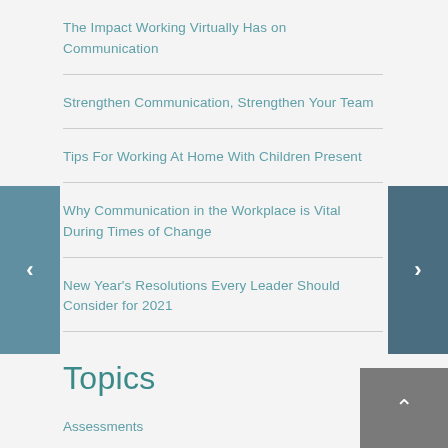The Impact Working Virtually Has on Communication
Strengthen Communication, Strengthen Your Team
Tips For Working At Home With Children Present
Why Communication in the Workplace is Vital During Times of Change
New Year's Resolutions Every Leader Should Consider for 2021
Topics
Assessments